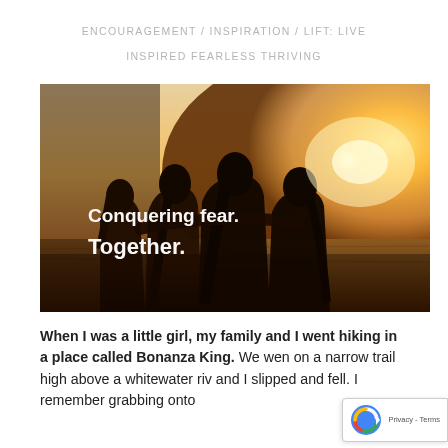ENCOURAGEMENT / INSPIRATION / LIFT: LIVE INSPIRED FEARLESS THRIVING
[Figure (photo): Four girls/women viewed from behind with arms around each other, facing a bright golden sunset over an open field. White handwritten-style text overlaid reads 'Conquering fear. Together.']
When I was a little girl, my family and I went hiking in a place called Bonanza King. We wen on a narrow trail high above a whitewater riv and I slipped and fell. I remember grabbing onto